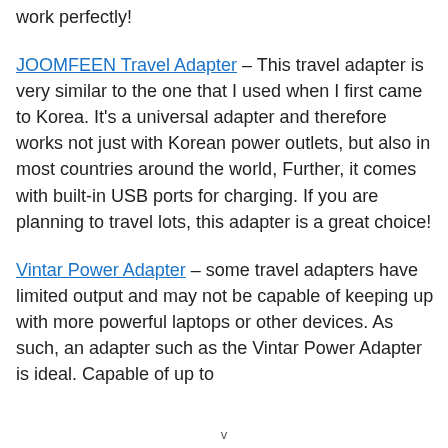work perfectly!
JOOMFEEN Travel Adapter – This travel adapter is very similar to the one that I used when I first came to Korea. It's a universal adapter and therefore works not just with Korean power outlets, but also in most countries around the world, Further, it comes with built-in USB ports for charging. If you are planning to travel lots, this adapter is a great choice!
Vintar Power Adapter – some travel adapters have limited output and may not be capable of keeping up with more powerful laptops or other devices. As such, an adapter such as the Vintar Power Adapter is ideal. Capable of up to